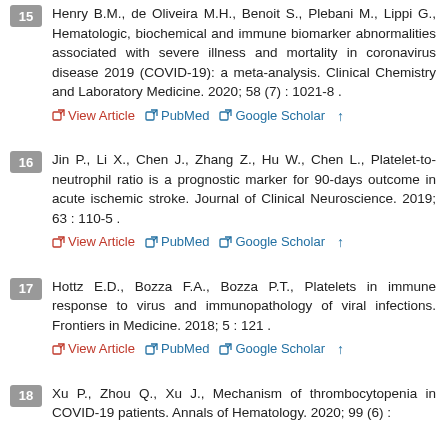15 Henry B.M., de Oliveira M.H., Benoit S., Plebani M., Lippi G., Hematologic, biochemical and immune biomarker abnormalities associated with severe illness and mortality in coronavirus disease 2019 (COVID-19): a meta-analysis. Clinical Chemistry and Laboratory Medicine. 2020; 58 (7) : 1021-8 . View Article PubMed Google Scholar
16 Jin P., Li X., Chen J., Zhang Z., Hu W., Chen L., Platelet-to-neutrophil ratio is a prognostic marker for 90-days outcome in acute ischemic stroke. Journal of Clinical Neuroscience. 2019; 63 : 110-5 . View Article PubMed Google Scholar
17 Hottz E.D., Bozza F.A., Bozza P.T., Platelets in immune response to virus and immunopathology of viral infections. Frontiers in Medicine. 2018; 5 : 121 . View Article PubMed Google Scholar
18 Xu P., Zhou Q., Xu J., Mechanism of thrombocytopenia in COVID-19 patients. Annals of Hematology. 2020; 99 (6) :